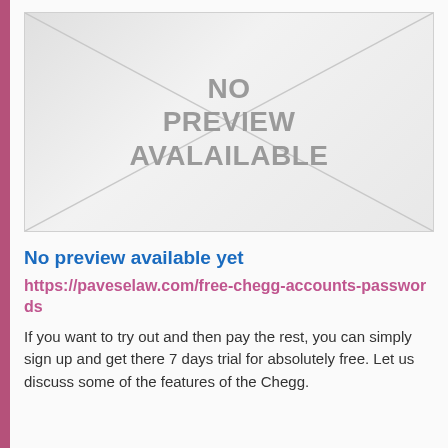[Figure (illustration): A grey envelope-style placeholder image with an X drawn through it and the text 'NO PREVIEW AVALAILABLE' in the center.]
No preview available yet
https://paveselaw.com/free-chegg-accounts-passwords
If you want to try out and then pay the rest, you can simply sign up and get there 7 days trial for absolutely free. Let us discuss some of the features of the Chegg.